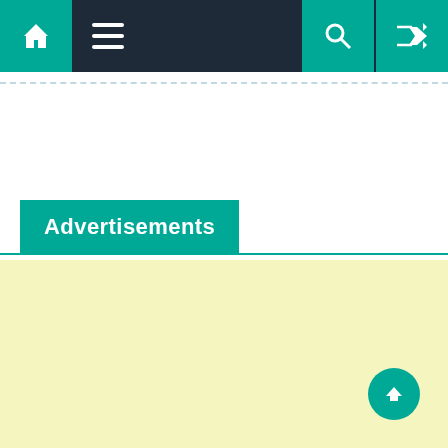Navigation bar with home, menu, search, and shuffle icons
Advertisements
[Figure (other): Light yellow advertisement placeholder area]